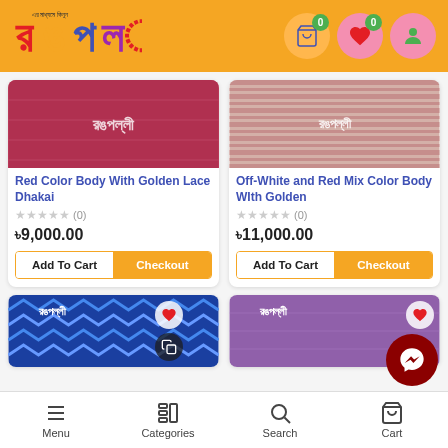রঙপল্লী — mobile app header with cart (0), heart (0), and user icons
[Figure (screenshot): Red fabric product image with রঙপল্লী logo watermark]
Red Color Body With Golden Lace Dhakai
★★★★★ (0)
৳9,000.00
Add To Cart | Checkout
[Figure (screenshot): Off-white and red striped fabric product image with রঙপল্লী logo watermark]
Off-White and Red Mix Color Body WIth Golden
★★★★★ (0)
৳11,000.00
Add To Cart | Checkout
[Figure (screenshot): Blue chevron fabric product image with রঙপল্লী logo watermark and heart/copy icons]
[Figure (screenshot): Purple fabric product image with রঙপল্লী logo watermark and heart icon]
Menu | Categories | Search | Cart